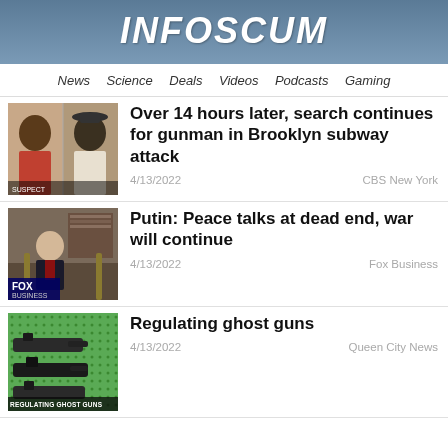INFOSCUM
News  Science  Deals  Videos  Podcasts  Gaming
Over 14 hours later, search continues for gunman in Brooklyn subway attack
4/13/2022
CBS New York
Putin: Peace talks at dead end, war will continue
4/13/2022
Fox Business
Regulating ghost guns
4/13/2022
Queen City News